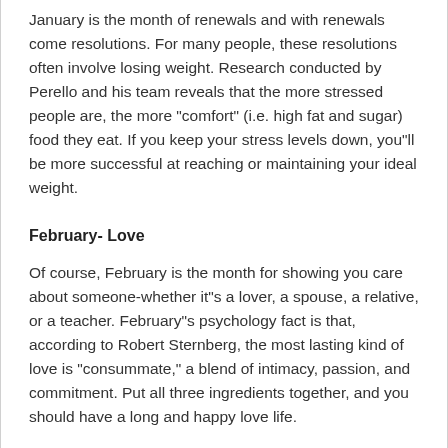January is the month of renewals and with renewals come resolutions. For many people, these resolutions often involve losing weight. Research conducted by Perello and his team reveals that the more stressed people are, the more "comfort" (i.e. high fat and sugar) food they eat. If you keep your stress levels down, you"ll be more successful at reaching or maintaining your ideal weight.
February- Love
Of course, February is the month for showing you care about someone-whether it"s a lover, a spouse, a relative, or a teacher. February"s psychology fact is that, according to Robert Sternberg, the most lasting kind of love is "consummate," a blend of intimacy, passion, and commitment. Put all three ingredients together, and you should have a long and happy love life.